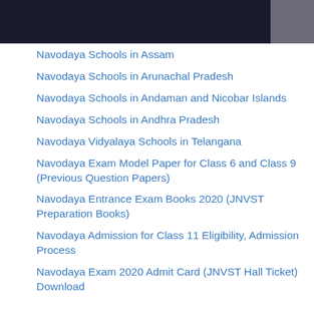Navodaya Schools in Assam
Navodaya Schools in Arunachal Pradesh
Navodaya Schools in Andaman and Nicobar Islands
Navodaya Schools in Andhra Pradesh
Navodaya Vidyalaya Schools in Telangana
Navodaya Exam Model Paper for Class 6 and Class 9 (Previous Question Papers)
Navodaya Entrance Exam Books 2020 (JNVST Preparation Books)
Navodaya Admission for Class 11 Eligibility, Admission Process
Navodaya Exam 2020 Admit Card (JNVST Hall Ticket) Download